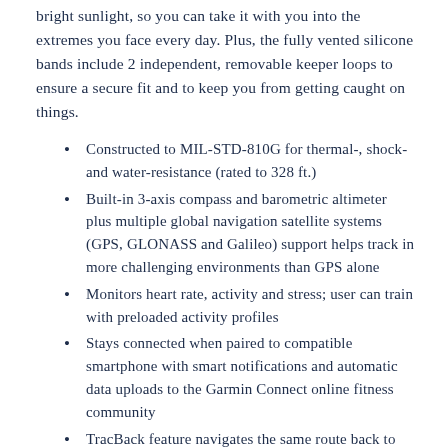bright sunlight, so you can take it with you into the extremes you face every day. Plus, the fully vented silicone bands include 2 independent, removable keeper loops to ensure a secure fit and to keep you from getting caught on things.
Constructed to MIL-STD-810G for thermal-, shock- and water-resistance (rated to 328 ft.)
Built-in 3-axis compass and barometric altimeter plus multiple global navigation satellite systems (GPS, GLONASS and Galileo) support helps track in more challenging environments than GPS alone
Monitors heart rate, activity and stress; user can train with preloaded activity profiles
Stays connected when paired to compatible smartphone with smart notifications and automatic data uploads to the Garmin Connect online fitness community
TracBack feature navigates the same route back to user's starting point